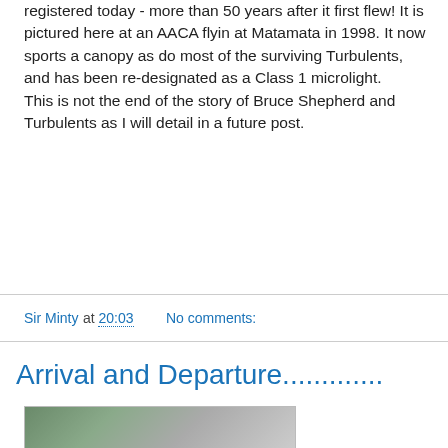registered today - more than 50 years after it first flew! It is pictured here at an AACA flyin at Matamata in 1998. It now sports a canopy as do most of the surviving Turbulents, and has been re-designated as a Class 1 microlight. This is not the end of the story of Bruce Shepherd and Turbulents as I will detail in a future post.
Sir Minty at 20:03    No comments:
Arrival and Departure.............
[Figure (photo): Outdoor photograph showing trees and a building with a grid-pattern facade, partially visible at bottom of page.]